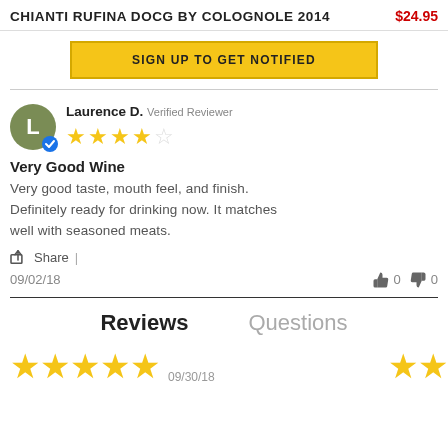CHIANTI RUFINA DOCG BY COLOGNOLE 2014  $24.95
SIGN UP TO GET NOTIFIED
Laurence D.  Verified Reviewer
★★★★☆
Very Good Wine
Very good taste, mouth feel, and finish. Definitely ready for drinking now. It matches well with seasoned meats.
Share |
09/02/18  👍 0  👎 0
Reviews    Questions
★★★★★  09/30/18